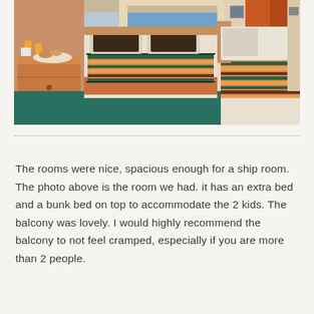[Figure (photo): A cruise ship cabin with two twin beds featuring striped orange and green bedding, dark teal/green carpet, wooden furniture including a dresser with orange juice glasses and pastries on top, and a sliding glass door leading to a balcony with ocean view and orange curtains.]
The rooms were nice, spacious enough for a ship room. The photo above is the room we had. it has an extra bed and a bunk bed on top to accommodate the 2 kids. The balcony was lovely. I would highly recommend the balcony to not feel cramped, especially if you are more than 2 people.